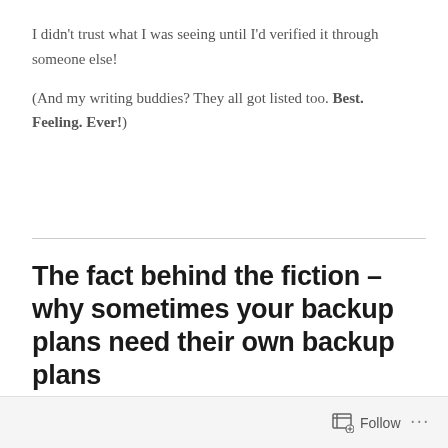I didn't trust what I was seeing until I'd verified it through someone else!

(And my writing buddies? They all got listed too. Best. Feeling. Ever!)
The fact behind the fiction – why sometimes your backup plans need their own backup plans
AUGUST 9, 2021 / LEAVE A COMMENT
Follow ...